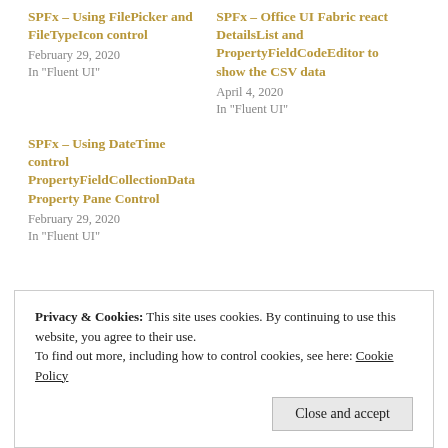SPFx – Using FilePicker and FileTypeIcon control
February 29, 2020
In "Fluent UI"
SPFx – Office UI Fabric react DetailsList and PropertyFieldCodeEditor to show the CSV data
April 4, 2020
In "Fluent UI"
SPFx – Using DateTime control PropertyFieldCollectionData Property Pane Control
February 29, 2020
In "Fluent UI"
Privacy & Cookies: This site uses cookies. By continuing to use this website, you agree to their use.
To find out more, including how to control cookies, see here: Cookie Policy
Close and accept